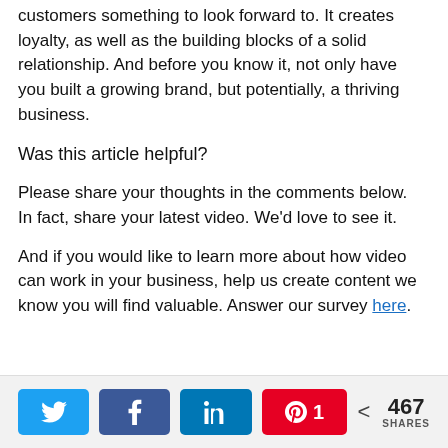customers something to look forward to. It creates loyalty, as well as the building blocks of a solid relationship. And before you know it, not only have you built a growing brand, but potentially, a thriving business.
Was this article helpful?
Please share your thoughts in the comments below. In fact, share your latest video. We'd love to see it.
And if you would like to learn more about how video can work in your business, help us create content we know you will find valuable. Answer our survey here.
[Figure (infographic): Social share bar with Twitter, Facebook, LinkedIn, Pinterest (count: 1) buttons and total share count of 467 SHARES]